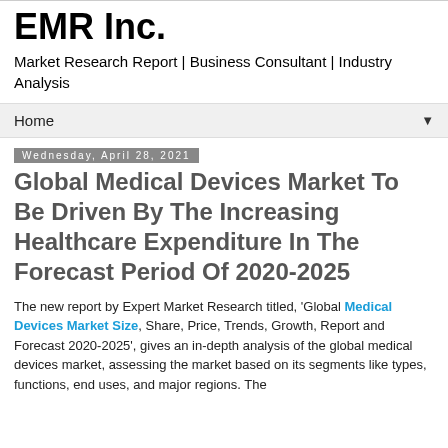EMR Inc.
Market Research Report | Business Consultant | Industry Analysis
Home
Wednesday, April 28, 2021
Global Medical Devices Market To Be Driven By The Increasing Healthcare Expenditure In The Forecast Period Of 2020-2025
The new report by Expert Market Research titled, 'Global Medical Devices Market Size, Share, Price, Trends, Growth, Report and Forecast 2020-2025', gives an in-depth analysis of the global medical devices market, assessing the market based on its segments like types, functions, end uses, and major regions. The